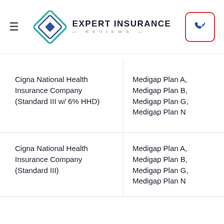Expert Insurance Reviews
| Company | Plans |
| --- | --- |
| Cigna National Health Insurance Company (Standard III w/ 6% HHD) | Medigap Plan A, Medigap Plan B, Medigap Plan G, Medigap Plan N |
| Cigna National Health Insurance Company (Standard III) | Medigap Plan A, Medigap Plan B, Medigap Plan G, Medigap Plan N |